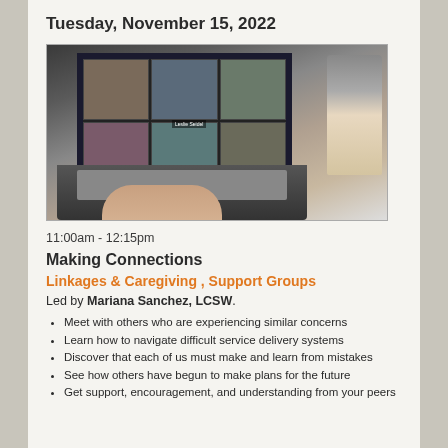Tuesday, November 15, 2022
[Figure (photo): Person typing on a laptop showing a video conference call with multiple participants on screen, with a glass jar in the background]
11:00am - 12:15pm
Making Connections
Linkages & Caregiving , Support Groups
Led by Mariana Sanchez, LCSW.
Meet with others who are experiencing similar concerns
Learn how to navigate difficult service delivery systems
Discover that each of us must make and learn from mistakes
See how others have begun to make plans for the future
Get support, encouragement, and understanding from your peers